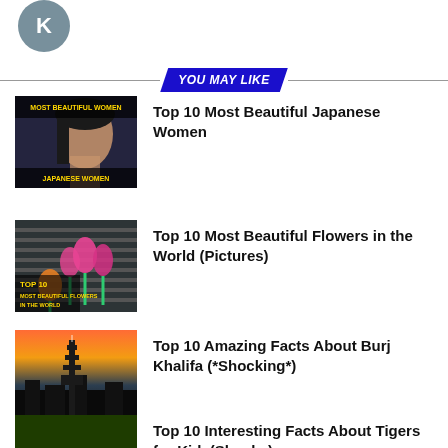[Figure (illustration): Avatar circle with letter K]
YOU MAY LIKE
Top 10 Most Beautiful Japanese Women
Top 10 Most Beautiful Flowers in the World (Pictures)
Top 10 Amazing Facts About Burj Khalifa (*Shocking*)
Top 10 Interesting Facts About Tigers for Kids(Shocks)